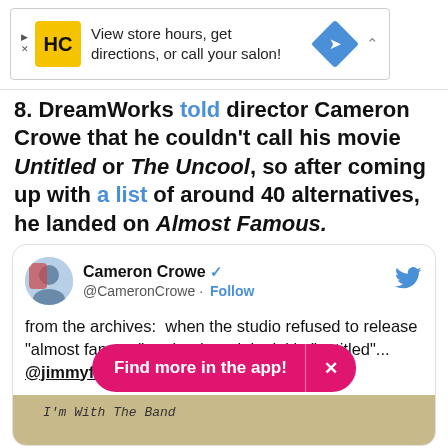[Figure (other): Advertisement banner for HC salon: 'View store hours, get directions, or call your salon!' with yellow HC logo and blue navigation diamond icon]
8. DreamWorks told director Cameron Crowe that he couldn't call his movie Untitled or The Uncool, so after coming up with a list of around 40 alternatives, he landed on Almost Famous.
[Figure (screenshot): Twitter/X embed from @CameronCrowe with verified checkmark and Follow button. Tweet reads: 'from the archives: when the studio refused to release "almost famous" under the original title "untitled"... @jimmyfallon sent these ideas.' With photo strip at bottom showing handwritten text 'I'm With The Band']